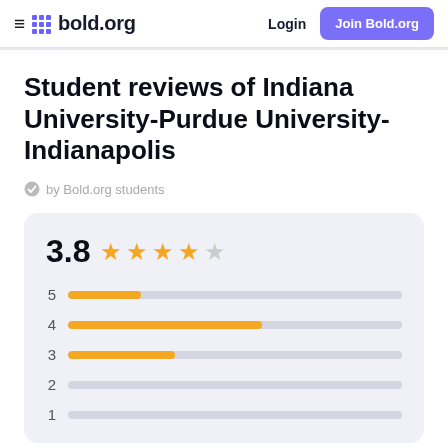bold.org — Login | Join Bold.org
Student reviews of Indiana University-Purdue University-Indianapolis
by Bold.org students
[Figure (bar-chart): 3.8 overall rating with 4 filled stars and 1 empty star. Bar chart showing distribution: 5 stars short fill, 4 stars longest fill, 3 stars medium fill, 2 stars empty, 1 star empty.]